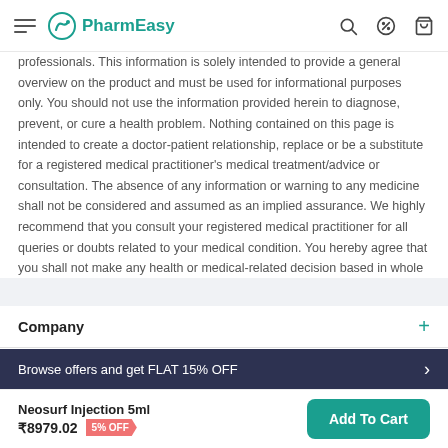PharmEasy
professionals. This information is solely intended to provide a general overview on the product and must be used for informational purposes only. You should not use the information provided herein to diagnose, prevent, or cure a health problem. Nothing contained on this page is intended to create a doctor-patient relationship, replace or be a substitute for a registered medical practitioner's medical treatment/advice or consultation. The absence of any information or warning to any medicine shall not be considered and assumed as an implied assurance. We highly recommend that you consult your registered medical practitioner for all queries or doubts related to your medical condition. You hereby agree that you shall not make any health or medical-related decision based in whole or in part on anything contained in the Site. Please click here for detailed T&C.
Company
Browse offers and get FLAT 15% OFF
Neosurf Injection 5ml
₹8979.02  5% OFF